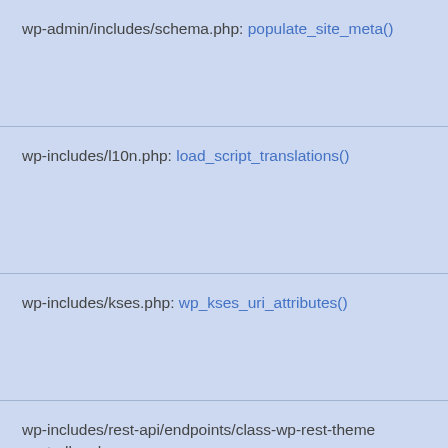wp-admin/includes/schema.php: populate_site_meta()
wp-includes/l10n.php: load_script_translations()
wp-includes/kses.php: wp_kses_uri_attributes()
wp-includes/rest-api/endpoints/class-wp-rest-theme-controller.php: WP_REST_Themes_Controller::prepare_item_for_response()
wp-includes/rest-api/endpoints/class-wp-rest-theme-